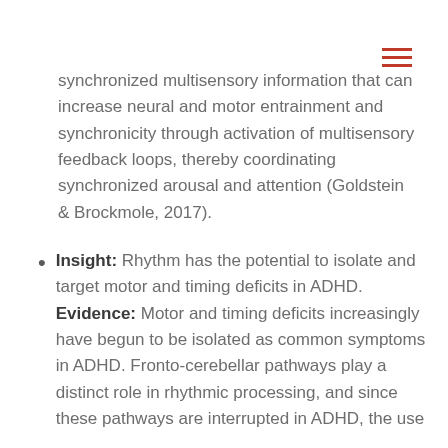[Figure (other): Hamburger menu icon — three horizontal red lines stacked]
synchronized multisensory information that can increase neural and motor entrainment and synchronicity through activation of multisensory feedback loops, thereby coordinating synchronized arousal and attention (Goldstein & Brockmole, 2017).
Insight: Rhythm has the potential to isolate and target motor and timing deficits in ADHD. Evidence: Motor and timing deficits increasingly have begun to be isolated as common symptoms in ADHD. Fronto-cerebellar pathways play a distinct role in rhythmic processing, and since these pathways are interrupted in ADHD, the use